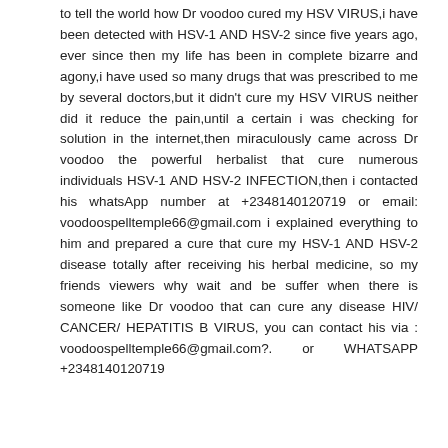to tell the world how Dr voodoo cured my HSV VIRUS,i have been detected with HSV-1 AND HSV-2 since five years ago, ever since then my life has been in complete bizarre and agony,i have used so many drugs that was prescribed to me by several doctors,but it didn't cure my HSV VIRUS neither did it reduce the pain,until a certain i was checking for solution in the internet,then miraculously came across Dr voodoo the powerful herbalist that cure numerous individuals HSV-1 AND HSV-2 INFECTION,then i contacted his whatsApp number at +2348140120719 or email: voodoospelltemple66@gmail.com i explained everything to him and prepared a cure that cure my HSV-1 AND HSV-2 disease totally after receiving his herbal medicine, so my friends viewers why wait and be suffer when there is someone like Dr voodoo that can cure any disease HIV/ CANCER/ HEPATITIS B VIRUS, you can contact his via : voodoospelltemple66@gmail.com?. or WHATSAPP +2348140120719